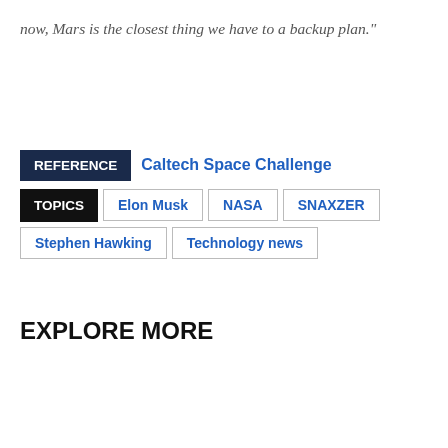now, Mars is the closest thing we have to a backup plan."
REFERENCE  Caltech Space Challenge
TOPICS  Elon Musk  NASA  SNAXZER  Stephen Hawking  Technology news
EXPLORE MORE
NEW INVENTIONS